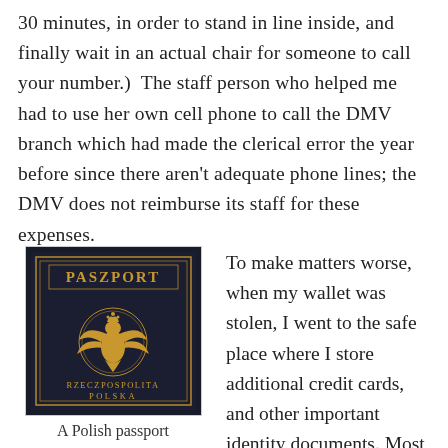30 minutes, in order to stand in line inside, and finally wait in an actual chair for someone to call your number.)  The staff person who helped me had to use her own cell phone to call the DMV branch which had made the clerical error the year before since there aren't adequate phone lines; the DMV does not reimburse its staff for these expenses.
[Figure (photo): A dark navy blue Polish passport cover with gold text reading 'PASZPORT' at the top and 'RZECZPOSPOLITA POLSKA' at the bottom, with a gold Polish eagle emblem in the center.]
A Polish passport
To make matters worse, when my wallet was stolen, I went to the safe place where I store additional credit cards, and other important identity documents. Most everything was